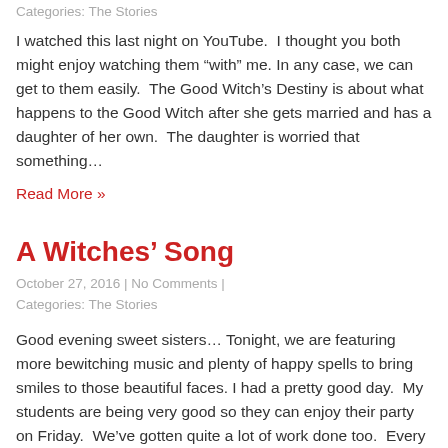Categories: The Stories
I watched this last night on YouTube.  I thought you both might enjoy watching them “with” me. In any case, we can get to them easily.  The Good Witch’s Destiny is about what happens to the Good Witch after she gets married and has a daughter of her own.  The daughter is worried that something…
Read More »
A Witches’ Song
October 27, 2016 | No Comments | Categories: The Stories
Good evening sweet sisters… Tonight, we are featuring more bewitching music and plenty of happy spells to bring smiles to those beautiful faces. I had a pretty good day.  My students are being very good so they can enjoy their party on Friday.  We’ve gotten quite a lot of work done too.  Every student turned…